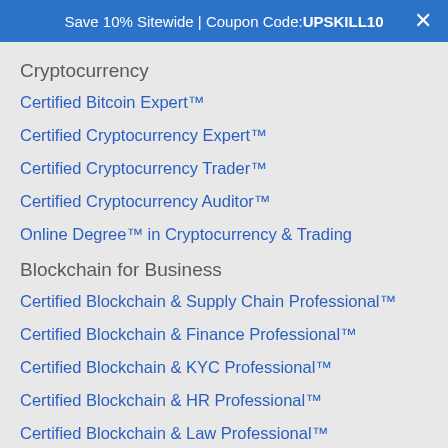Save 10% Sitewide | Coupon Code: UPSKILL10
Cryptocurrency
Certified Bitcoin Expert™
Certified Cryptocurrency Expert™
Certified Cryptocurrency Trader™
Certified Cryptocurrency Auditor™
Online Degree™ in Cryptocurrency & Trading
Blockchain for Business
Certified Blockchain & Supply Chain Professional™
Certified Blockchain & Finance Professional™
Certified Blockchain & KYC Professional™
Certified Blockchain & HR Professional™
Certified Blockchain & Law Professional™
Certified Blockchain & Healthcare Professional™
Certified Blockchain & Digital Marketing Professional™
Certified Blockchain Security Professional™